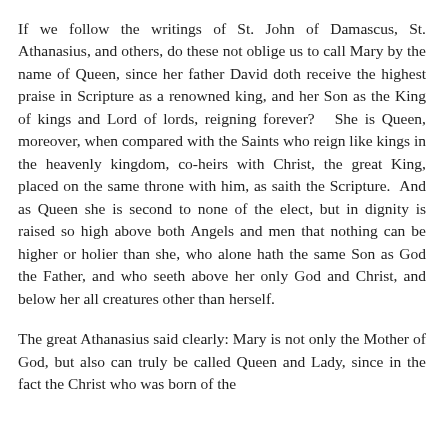If we follow the writings of St. John of Damascus, St. Athanasius, and others, do these not oblige us to call Mary by the name of Queen, since her father David doth receive the highest praise in Scripture as a renowned king, and her Son as the King of kings and Lord of lords, reigning forever?  She is Queen, moreover, when compared with the Saints who reign like kings in the heavenly kingdom, co-heirs with Christ, the great King, placed on the same throne with him, as saith the Scripture.  And as Queen she is second to none of the elect, but in dignity is raised so high above both Angels and men that nothing can be higher or holier than she, who alone hath the same Son as God the Father, and who seeth above her only God and Christ, and below her all creatures other than herself.
The great Athanasius said clearly: Mary is not only the Mother of God, but also can truly be called Queen and Lady, since in the fact the Christ who was born of the